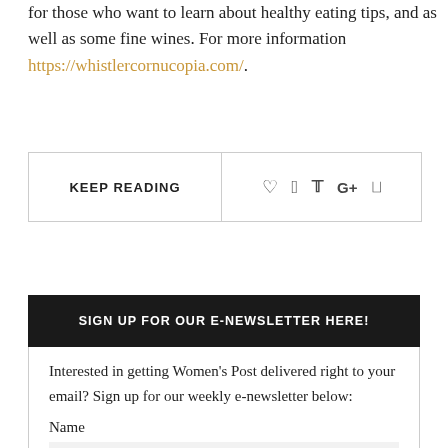for those who want to learn about healthy eating tips, and as well as some fine wines. For more information https://whistlercornucopia.com/.
KEEP READING
SIGN UP FOR OUR E-NEWSLETTER HERE!
Interested in getting Women's Post delivered right to your email? Sign up for our weekly e-newsletter below:
Name